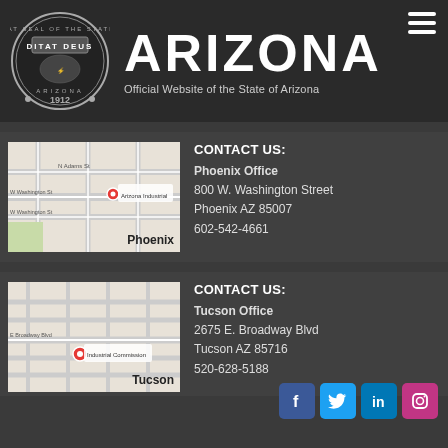[Figure (logo): Great Seal of the State of Arizona 1912 circular emblem]
ARIZONA
Official Website of the State of Arizona
[Figure (map): Map showing Phoenix office location near W Washington St]
CONTACT US:
Phoenix Office
800 W. Washington Street
Phoenix AZ 85007
602-542-4661
[Figure (map): Map showing Tucson office location near E Broadway Blvd]
CONTACT US:
Tucson Office
2675 E. Broadway Blvd
Tucson AZ 85716
520-628-5188